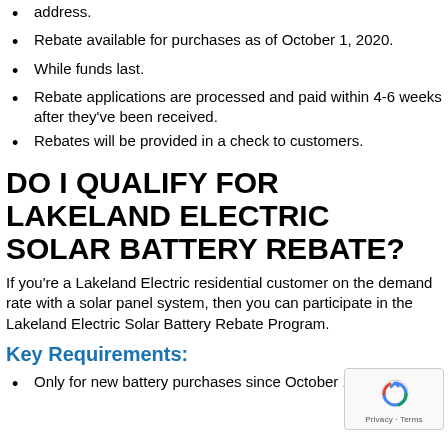address.
Rebate available for purchases as of October 1, 2020.
While funds last.
Rebate applications are processed and paid within 4-6 weeks after they've been received.
Rebates will be provided in a check to customers.
DO I QUALIFY FOR LAKELAND ELECTRIC SOLAR BATTERY REBATE?
If you're a Lakeland Electric residential customer on the demand rate with a solar panel system, then you can participate in the Lakeland Electric Solar Battery Rebate Program.
Key Requirements:
Only for new battery purchases since October 1, 2020.